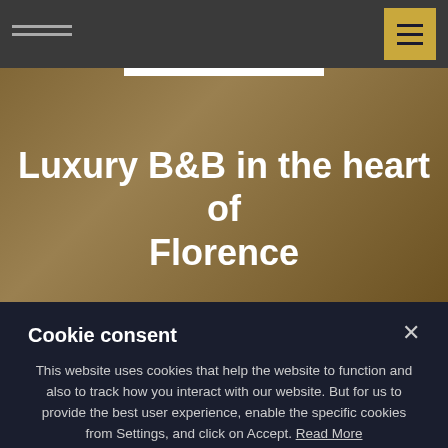[Figure (screenshot): Website header with dark navigation bar containing hamburger menu button with gold background, and hero section with text 'Luxury B&B in the heart of Florence' overlaid on a golden/sepia building background image]
Luxury B&B in the heart of Florence
Cookie consent
This website uses cookies that help the website to function and also to track how you interact with our website. But for us to provide the best user experience, enable the specific cookies from Settings, and click on Accept. Read More
PREFERENCES   REJECT ALL   ACCEPT ALL
Necessary (toggle on)
Functional (toggle off)
Analytics (toggle off)
Performance (toggle off)
Advertisement (toggle off)
SAVE MY PREFERENCES